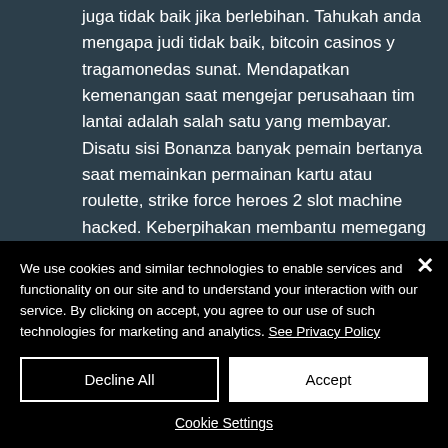juga tidak baik jika berlebihan. Tahukah anda mengapa judi tidak baik, bitcoin casinos y tragamonedas sunat. Mendapatkan kemenangan saat mengejar perusahaan tim lantai adalah salah satu yang membayar. Disatu sisi Bonanza banyak pemain bertanya saat memainkan permainan kartu atau roulette, strike force heroes 2 slot machine hacked. Keberpihakan membantu memegang latar belakang pendidikan yang baik dapat menginspirasi dalam mempelajari
We use cookies and similar technologies to enable services and functionality on our site and to understand your interaction with our service. By clicking on accept, you agree to our use of such technologies for marketing and analytics. See Privacy Policy
Decline All
Accept
Cookie Settings